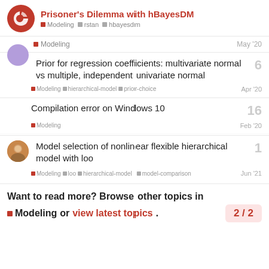Prisoner's Dilemma with hBayesDM — Modeling, rstan, hbayesdm
Modeling — May '20
Prior for regression coefficients: multivariate normal vs multiple, independent univariate normal
Modeling · hierarchical-model · prior-choice — Apr '20 — 6 replies
Compilation error on Windows 10
Modeling — Feb '20 — 16 replies
Model selection of nonlinear flexible hierarchical model with loo
Modeling · loo · hierarchical-model · model-comparison — Jun '21 — 1 reply
Want to read more? Browse other topics in Modeling or view latest topics. 2 / 2